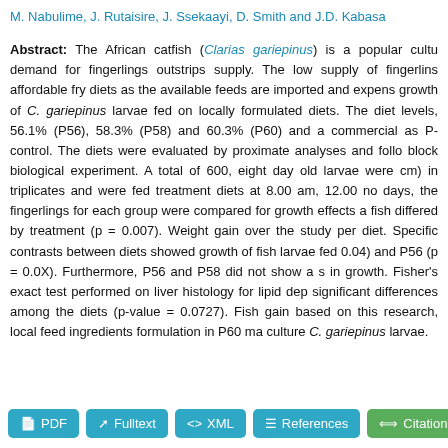M. Nabulime, J. Rutaisire, J. Ssekaayi, D. Smith and J.D. Kabasa
Abstract: The African catfish (Clarias gariepinus) is a popular cultured fish species in Uganda, but the demand for fingerlings outstrips supply. The low supply of fingerlings is partly attributed to lack of affordable fry diets as the available feeds are imported and expensive. This study evaluated the growth of C. gariepinus larvae fed on locally formulated diets. The diets were formulated at three protein levels, 56.1% (P56), 58.3% (P58) and 60.3% (P60) and a commercial diet (Skretting, Norway) served as P-control. The diets were evaluated by proximate analyses and followed by a completely randomised block biological experiment. A total of 600, eight day old larvae were distributed in tanks (average 0.5 cm) in triplicates and were fed treatment diets at 8.00 am, 12.00 noon and 4.00 pm. After 21 days, the fingerlings for each group were compared for growth effects and survival. The weight of the fish differed by treatment (p = 0.007). Weight gain over the study period was highest for the P60 diet. Specific contrasts between diets showed growth of fish larvae fed P60 was greater than P58 (p = 0.04) and P56 (p = 0.0X). Furthermore, P56 and P58 did not show a significant difference in growth. Fisher's exact test performed on liver histology for lipid deposition did not show significant differences among the diets (p-value = 0.0727). Fish gained best on the P60 diet and based on this research, local feed ingredients formulation in P60 may be used to successfully culture C. gariepinus larvae.
PDF
Fulltext
XML
References
Citation